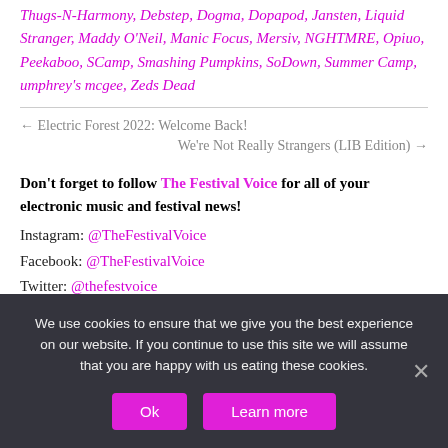Thugs-N-Harmony, Debstep, Dogma, Dopapod, Jansten, Liquid Stranger, Maddy O'Neil, Manic Focus, Mersiv, NGHTMRE, Opiuo, Peekaboo, SCamp, Smashing Pumpkins, SoDown, Summer Camp, umphrey's mcgee, Zeds Dead
← Electric Forest 2022: Welcome Back!
We're Not Really Strangers (LIB Edition) →
Don't forget to follow The Festival Voice for all of your electronic music and festival news! Instagram: @TheFestivalVoice Facebook: @TheFestivalVoice Twitter: @thefestvoice
We use cookies to ensure that we give you the best experience on our website. If you continue to use this site we will assume that you are happy with us eating these cookies.